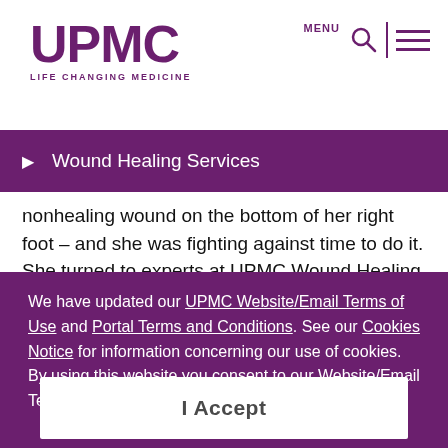UPMC LIFE CHANGING MEDICINE
Wound Healing Services
nonhealing wound on the bottom of her right foot – and she was fighting against time to do it. She turned to experts at UPMC Wound Healing Services at UPMC
We have updated our UPMC Website/Email Terms of Use and Portal Terms and Conditions. See our Cookies Notice for information concerning our use of cookies. By using this website you consent to our Website/Email Terms of Use.
I Accept